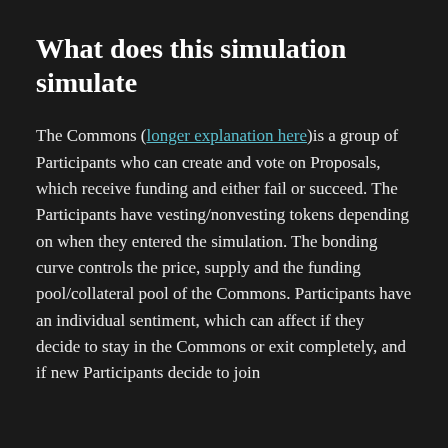What does this simulation simulate
The Commons (longer explanation here)is a group of Participants who can create and vote on Proposals, which receive funding and either fail or succeed. The Participants have vesting/nonvesting tokens depending on when they entered the simulation. The bonding curve controls the price, supply and the funding pool/collateral pool of the Commons. Participants have an individual sentiment, which can affect if they decide to stay in the Commons or exit completely, and if new Participants decide to join